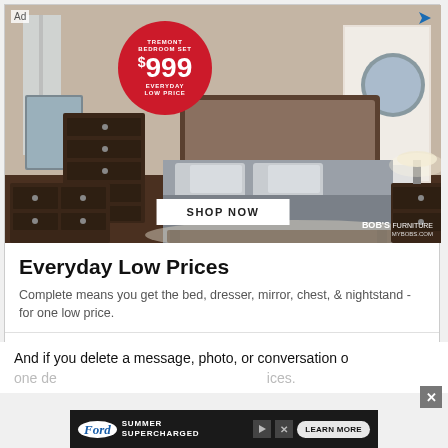[Figure (photo): Bob's Discount Furniture advertisement showing a bedroom set (Tremont Bedroom Set) with dark wood dresser, chest, bed with gray bedding, and nightstand in a styled room. Red circular badge reads: TREMONT BEDROOM SET $999 EVERYDAY LOW PRICE. A SHOP NOW button is shown at the bottom of the image. Bob's Furniture logo in lower right.]
Everyday Low Prices
Complete means you get the bed, dresser, mirror, chest, & nightstand - for one low price.
Bob's Discount Furniture
Shop Now
And if you delete a message, photo, or conversation o one de
[Figure (other): Ford Summer Supercharged advertisement banner at the bottom with LEARN MORE button]